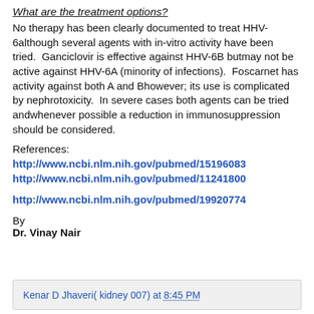What are the treatment options?
No therapy has been clearly documented to treat HHV-6although several agents with in-vitro activity have been tried.  Ganciclovir is effective against HHV-6B butmay not be active against HHV-6A (minority of infections).  Foscarnet has activity against both A and Bhowever; its use is complicated by nephrotoxicity.  In severe cases both agents can be tried andwhenever possible a reduction in immunosuppression should be considered.
References:
http://www.ncbi.nlm.nih.gov/pubmed/15196083
http://www.ncbi.nlm.nih.gov/pubmed/11241800
http://www.ncbi.nlm.nih.gov/pubmed/19920774
By
Dr. Vinay Nair
Kenar D Jhaveri( kidney 007) at 8:45 PM